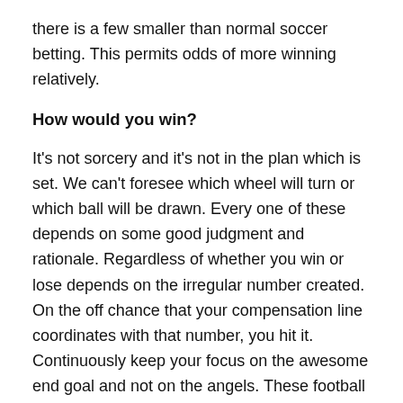there is a few smaller than normal soccer betting. This permits odds of more winning relatively.
How would you win?
It's not sorcery and it's not in the plan which is set. We can't foresee which wheel will turn or which ball will be drawn. Every one of these depends on some good judgment and rationale. Regardless of whether you win or lose depends on the irregular number created. On the off chance that your compensation line coordinates with that number, you hit it. Continuously keep your focus on the awesome end goal and not on the angels. These football betting gathering pits might occupy you. Be gallant to say no. When you had enough successes, say no. Practice well in no-cash spaces with free play. Find out about the strategy diff…